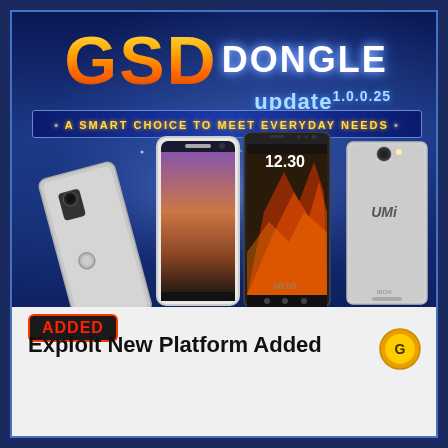GSD DONGLE update 1.0.0.25
A SMART CHOICE TO MEET EVERYDAY NEEDS
[Figure (photo): Product promotional image showing multiple smartphones arranged together against a blue background with sparkle/star light effects. Phones include a Coolpad device showing back, a white-framed phone, a dark phone showing 12:30 time on screen with dragon wallpaper, and a UMi Iron phone showing back.]
ADDED
Exploit New Platform Added